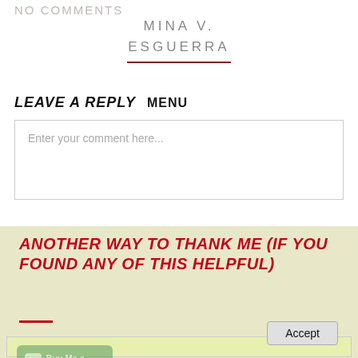NO COMMENTS
MINA V. ESGUERRA
LEAVE A REPLY   MENU
Enter your comment here...
ANOTHER WAY TO THANK ME (IF YOU FOUND ANY OF THIS HELPFUL)
By continuing to use the site, you agree to the use of cookies. more information
Accept